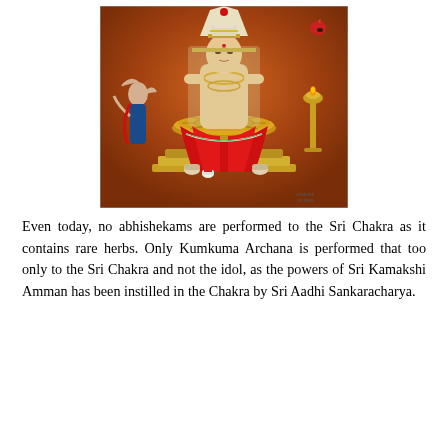[Figure (illustration): A traditional South Indian painting of Sri Kamakshi Amman (deity) seated on a throne, adorned with elaborate jewellery and garlands. The deity is depicted against an orange-brown background, with attendant figures on either side — a dancing figure on the left and a lamp stand on the right. The Sri Chakra (yantra) is visible in front of the deity, placed on a large circular platform. Ritual offerings are arranged at the base.]
Even today, no abhishekams are performed to the Sri Chakra as it contains rare herbs. Only Kumkuma Archana is performed that too only to the Sri Chakra and not the idol, as the powers of Sri Kamakshi Amman has been instilled in the Chakra by Sri Aadhi Sankaracharya.